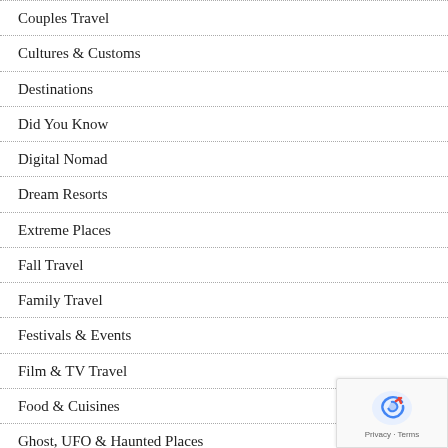Couples Travel
Cultures & Customs
Destinations
Did You Know
Digital Nomad
Dream Resorts
Extreme Places
Fall Travel
Family Travel
Festivals & Events
Film & TV Travel
Food & Cuisines
Ghost, UFO & Haunted Places
Health & Safety
Highpointing